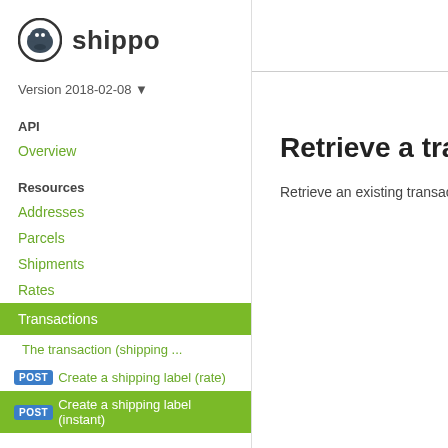[Figure (logo): Shippo hippopotamus logo icon with the text 'shippo' in dark gray]
Version 2018-02-08 ▼
API
Overview
Resources
Addresses
Parcels
Shipments
Rates
Transactions
The transaction (shipping ...
POST Create a shipping label (rate)
POST Create a shipping label (instant)
Retrieve a transac
Retrieve an existing transac